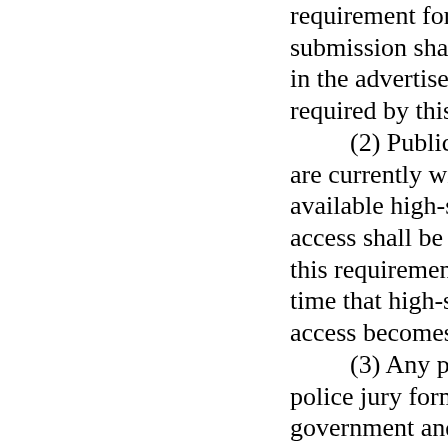requirement for the submission shall be specified in the advertisement for bids required by this Section.
(2) Public entities that are currently without available high-speed internet access shall be exempt from this requirement until such time that high-speed internet access becomes available.
(3) Any parish with a police jury form of government and a population of less than twenty thousand shall be